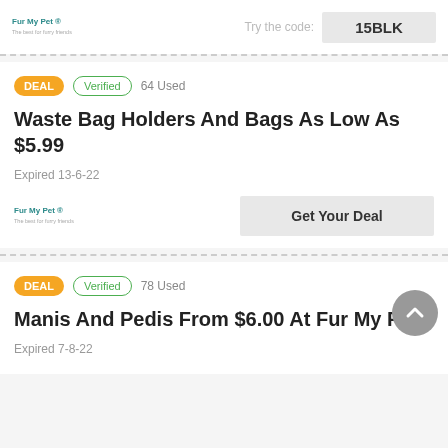Try the code: 15BLK
DEAL · Verified · 64 Used
Waste Bag Holders And Bags As Low As $5.99
Expired 13-6-22
Get Your Deal
DEAL · Verified · 78 Used
Manis And Pedis From $6.00 At Fur My Pet
Expired 7-8-22